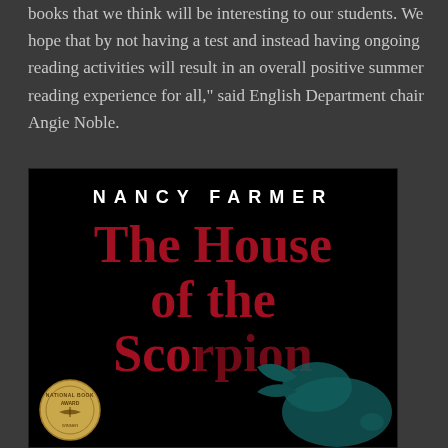books that we think will be interesting to our students. We hope that by not having a test and instead having ongoing reading activities will result in an overall positive summer reading experience for all," said English Department chair Angie Noble.
[Figure (photo): Book cover of 'The House of the Scorpion' by Nancy Farmer. Black background with author name in white spaced letters at the top, title in large dark red serif font in the center, a National Book Award medal at the bottom left, and a teal-colored scorpion claw visible at the bottom right.]